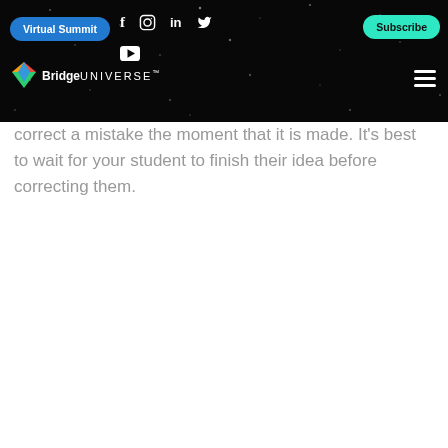BridgeUNIVERSE — Virtual Summit | Subscribe
correct a mistake the moment that it is made. It's best to wait for your student to finish their idea before correcting them.